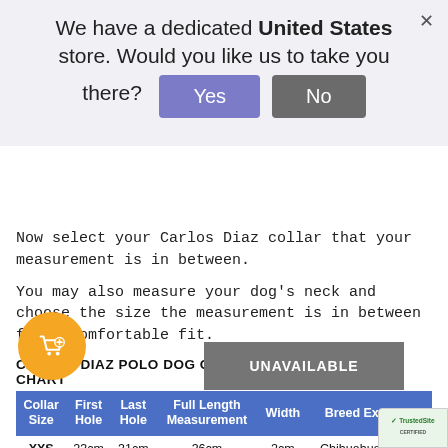We have a dedicated United States store. Would you like us to take you there?
Now select your Carlos Diaz collar that your measurement is in between.
You may also measure your dog's neck and choose the size the measurement is in between for a comfortable fit.
CARLOS DIAZ POLO DOG COLLAR & LEAD SET SIZE CHART
| Collar Size | First Hole | Last Hole | Full Length Measurement | Width | Breed Example |
| --- | --- | --- | --- | --- | --- |
| XXS | 23cm | 31cm | 36cm | 2cm | Chihuahua/Puppy |
| XS | 28cm | 36cm | 42cm | 2cm | Jack Russell |
| S | 33cm | 41cm | 50cm | 2.5cm | Beagle |